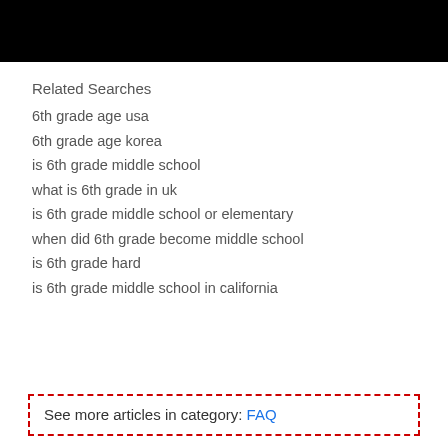[Figure (other): Black rectangular banner at the top of the page]
Related Searches
6th grade age usa
6th grade age korea
is 6th grade middle school
what is 6th grade in uk
is 6th grade middle school or elementary
when did 6th grade become middle school
is 6th grade hard
is 6th grade middle school in california
See more articles in category: FAQ